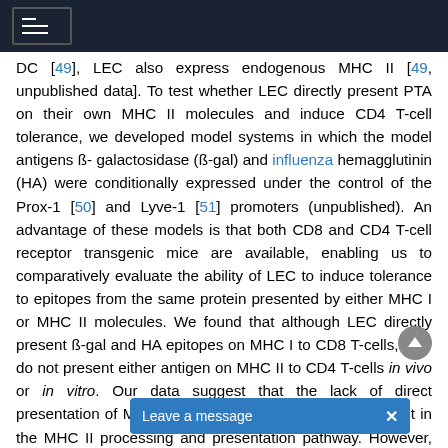[navigation bar with hamburger menu]
DC [49], LEC also express endogenous MHC II [49, unpublished data]. To test whether LEC directly present PTA on their own MHC II molecules and induce CD4 T-cell tolerance, we developed model systems in which the model antigens ß-galactosidase (ß-gal) and influenza hemagglutinin (HA) were conditionally expressed under the control of the Prox-1 [50] and Lyve-1 [51] promoters (unpublished). An advantage of these models is that both CD8 and CD4 T-cell receptor transgenic mice are available, enabling us to comparatively evaluate the ability of LEC to induce tolerance to epitopes from the same protein presented by either MHC I or MHC II molecules. We found that although LEC directly present ß-gal and HA epitopes on MHC I to CD8 T-cells, they do not present either antigen on MHC II to CD4 T-cells in vivo or in vitro. Our data suggest that the lack of direct presentation of MHC II epitopes by LEC is due to a defect in the MHC II processing and presentation pathway. However, we also found that these antigens were transferred to D[...] presentation by DC resulted in